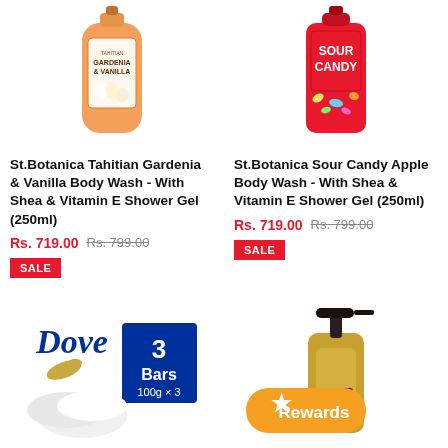[Figure (photo): St.Botanica Tahitian Gardenia & Vanilla Body Wash bottle - orange/peach colored bottle with floral design]
[Figure (photo): St.Botanica Sour Candy Apple Body Wash bottle - red colored bottle with candy design]
St.Botanica Tahitian Gardenia & Vanilla Body Wash - With Shea & Vitamin E Shower Gel (250ml)
Rs. 719.00  Rs. 799.00
SALE
St.Botanica Sour Candy Apple Body Wash - With Shea & Vitamin E Shower Gel (250ml)
Rs. 719.00  Rs. 799.00
SALE
[Figure (photo): Dove soap bars - 3 bars pack 100g x 3, white dove logo visible]
[Figure (photo): Gold pump bottle hand wash with Rewards badge overlay]